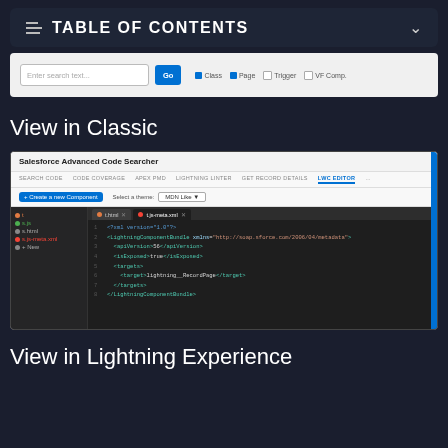TABLE OF CONTENTS
[Figure (screenshot): Search bar with Enter search text input, Go button, and checkboxes for Class, Page, Trigger, VF Comp]
View in Classic
[Figure (screenshot): Salesforce Advanced Code Searcher interface showing LWC Editor tab with code editor panel containing XML metadata file]
View in Lightning Experience